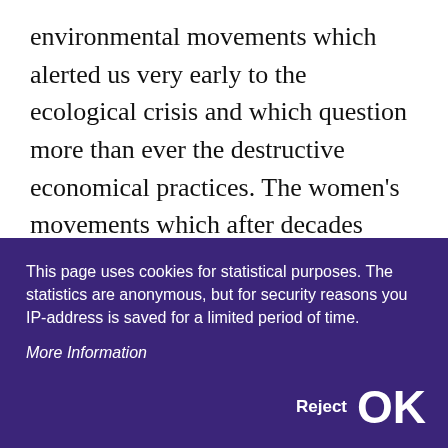environmental movements which alerted us very early to the ecological crisis and which question more than ever the destructive economical practices. The women's movements which after decades achieved gender equality in different domains and continue their struggle every day. The alterglobalization movement which wants to build international relations on solidarity and the respect of human rights, instead of competition and exploitation. The peace movements that continually
This page uses cookies for statistical purposes. The statistics are anonymous, but for security reasons you IP-address is saved for a limited period of time.
More Information
Reject  OK